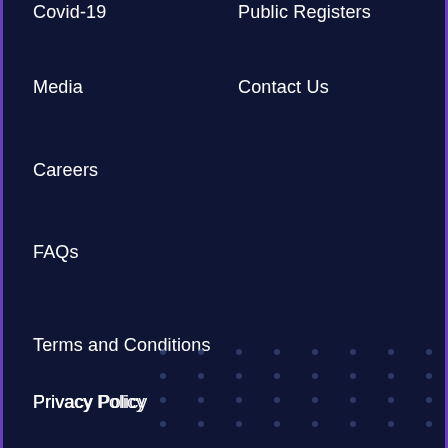Covid-19
Public Registers
Media
Contact Us
Careers
FAQs
Terms and Conditions
Privacy Policy
Site Map
[Figure (illustration): Decorative dot grid pattern in bottom right area of the dark navy footer]